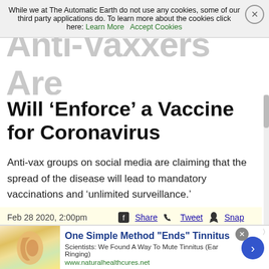While we at The Automatic Earth do not use any cookies, some of our third party applications do. To learn more about the cookies click here: Learn More   Accept Cookies
Anti-Vaxxers Are Terrified the Government Will ‘Enforce’ a Vaccine for Coronavirus
Anti-vax groups on social media are claiming that the spread of the disease will lead to mandatory vaccinations and ‘unlimited surveillance.’
By Anna Merlan
Feb 28 2020, 2:00pm
[Figure (advertisement): Advertisement for 'One Simple Method Ends Tinnitus' from www.naturalhealthcures.net showing an ear image and text: Scientists: We Found A Way To Mute Tinnitus (Ear Ringing)]